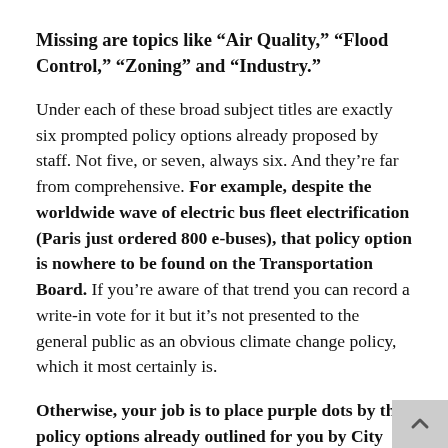Missing are topics like “Air Quality,” “Flood Control,” “Zoning” and “Industry.”
Under each of these broad subject titles are exactly six prompted policy options already proposed by staff. Not five, or seven, always six. And they’re far from comprehensive. For example, despite the worldwide wave of electric bus fleet electrification (Paris just ordered 800 e-buses), that policy option is nowhere to be found on the Transportation Board. If you’re aware of that trend you can record a write-in vote for it but it’s not presented to the general public as an obvious climate change policy, which it most certainly is.
Otherwise, your job is to place purple dots by the policy options already outlined for you by City Hall staff.